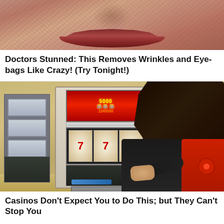[Figure (photo): Close-up photo of a person's lips and lower face with visible skin texture]
Doctors Stunned: This Removes Wrinkles and Eye-bags Like Crazy! (Try Tonight!)
[Figure (photo): Woman in black and red uniform looking at an open slot machine showing its internal components including circuit boards and reels]
Casinos Don't Expect You to Do This; but They Can't Stop You